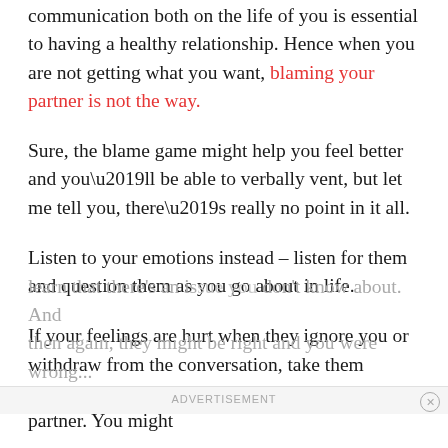communication both on the life of you is essential to having a healthy relationship. Hence when you are not getting what you want, blaming your partner is not the way.
Sure, the blame game might help you feel better and you’ll be able to verbally vent, but let me tell you, there’s really no point in it all.
Listen to your emotions instead – listen for them and question them as you go about in life.
If your feelings are hurt when they ignore you or withdraw from the conversation, take them seriously and discuss them calmly with your partner. You might
learn that there’s an issue you don’t know about. And then again, they might be right and you were wrong...
ADVERTISEMENT